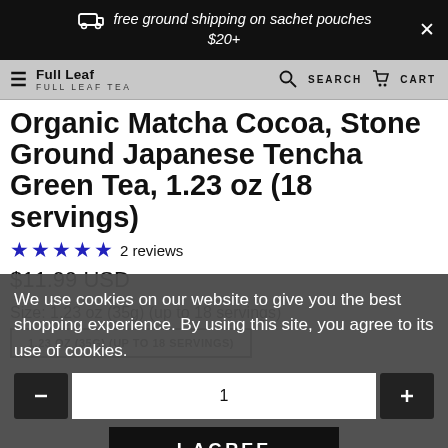free ground shipping on sachet pouches $20+
FULL LEAF TEA   SEARCH   CART
Organic Matcha Cocoa, Stone Ground Japanese Tencha Green Tea, 1.23 oz (18 servings)
★★★★★ 2 reviews
$11.99 USD
Size: 1.23 oz (35g) (up to 18 servings)
1.23 OZ (35G) (UP TO 18 SERVINGS)
We use cookies on our website to give you the best shopping experience. By using this site, you agree to its use of cookies.
I AGREE